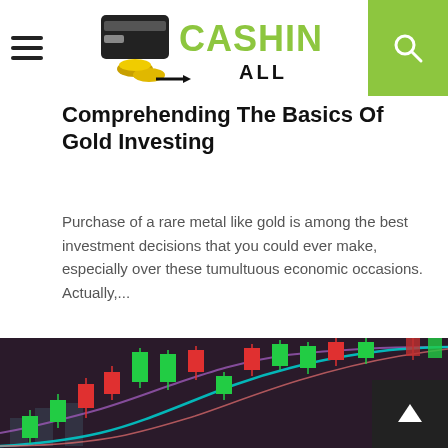CASHING ALL
Comprehending The Basics Of Gold Investing
Purchase of a rare metal like gold is among the best investment decisions that you could ever make, especially over these tumultuous economic occasions. Actually,...
[Figure (photo): Candlestick chart with moving average lines showing stock/commodity price movement with green and red candles on a dark background]